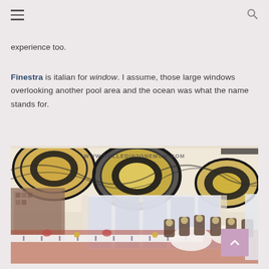Navigation header with hamburger menu and search icon
experience too.
Finestra is italian for window. I assume, those large windows overlooking another pool area and the ocean was what the name stands for.
[Figure (photo): Interior of Finestra restaurant showing ornate ceiling with large circular chandeliers in black and gold Art Deco style, large windows with sheer curtains in background, elegantly set dining tables with white tablecloths, candles, and decorative chairs with medallion backs. Watermark reads WWW.ROLLEDIN2ONEMOM.COM]